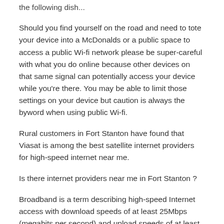the following dish...
Should you find yourself on the road and need to tote your device into a McDonalds or a public space to access a public Wi-fi network please be super-careful with what you do online because other devices on that same signal can potentially access your device while you're there. You may be able to limit those settings on your device but caution is always the byword when using public Wi-fi.
Rural customers in Fort Stanton have found that Viasat is among the best satellite internet providers for high-speed internet near me.
Is there internet providers near me in Fort Stanton ?
Broadband is a term describing high-speed Internet access with download speeds of at least 25Mbps (megabits per second) and upload speeds of at least 3 Mbps. Broadband signals can be sent over a satellite